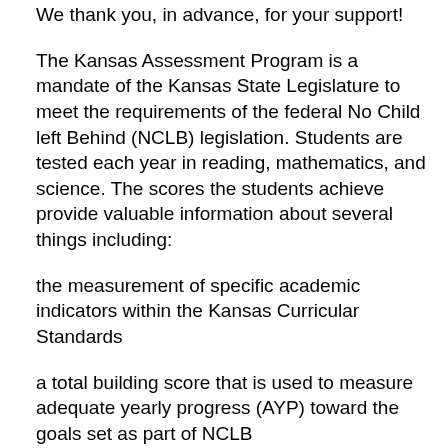We thank you, in advance, for your support!
The Kansas Assessment Program is a mandate of the Kansas State Legislature to meet the requirements of the federal No Child left Behind (NCLB) legislation. Students are tested each year in reading, mathematics, and science. The scores the students achieve provide valuable information about several things including:
the measurement of specific academic indicators within the Kansas Curricular Standards
a total building score that is used to measure adequate yearly progress (AYP) toward the goals set as part of NCLB
scores that can be used to assist the school in improving the academic content areas of that building within the district.